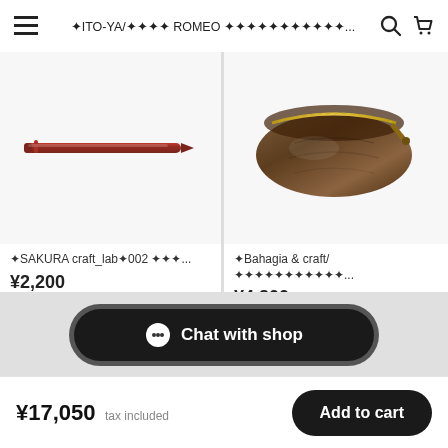☰  ✦ITO-YA/✦✦✦✦ ROMEO ✦✦✦✦✦✦✦✦✦✦✦...  🔍  🛒
[Figure (photo): Red slim ballpoint pen on white background]
✦SAKURA craft_lab✦002 ✦✦✦...
¥2,200
[Figure (photo): Brown leather zipper pencil case/pouch on white background]
✦Bahagia & craft/✦✦✦✦✦✦✦✦✦✦✦...
¥4,800
Chat with shop
¥17,050  tax included
Add to cart